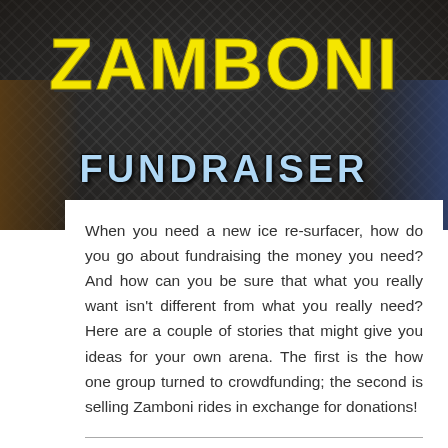[Figure (illustration): Zamboni Fundraiser banner with yellow distressed block letters spelling ZAMBONI on dark diamond-plate background, with FUNDRAISER in light blue below, and arena crowd visible on sides]
When you need a new ice re-surfacer, how do you go about fundraising the money you need? And how can you be sure that what you really want isn't different from what you really need? Here are a couple of stories that might give you ideas for your own arena. The first is the how one group turned to crowdfunding; the second is selling Zamboni rides in exchange for donations!
In February 2016, with their old resurfacer grinding to a halt, the Pittsfield, MA-based Boys & Girls Club of the Berkshires turned to the crowdfunding